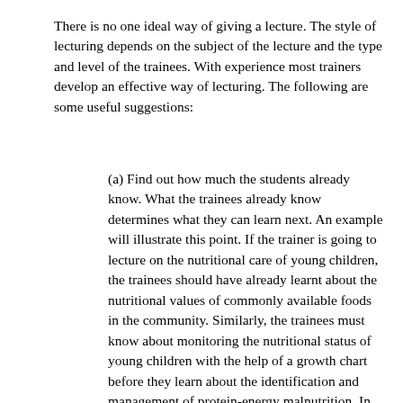There is no one ideal way of giving a lecture. The style of lecturing depends on the subject of the lecture and the type and level of the trainees. With experience most trainers develop an effective way of lecturing. The following are some useful suggestions:
(a) Find out how much the students already know. What the trainees already know determines what they can learn next. An example will illustrate this point. If the trainer is going to lecture on the nutritional care of young children, the trainees should have already learnt about the nutritional values of commonly available foods in the community. Similarly, the trainees must know about monitoring the nutritional status of young children with the help of a growth chart before they learn about the identification and management of protein-energy malnutrition. In training courses in which several trainers lecture one